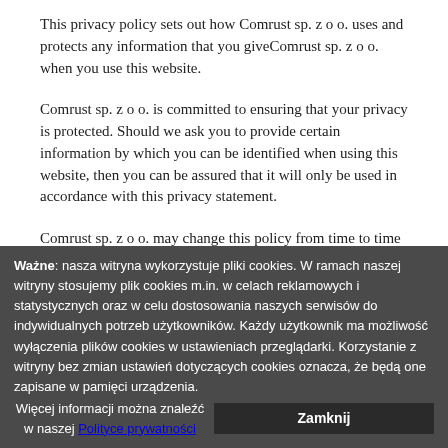This privacy policy sets out how Comrust sp. z o o. uses and protects any information that you giveComrust sp. z o o. when you use this website.
Comrust sp. z o o. is committed to ensuring that your privacy is protected. Should we ask you to provide certain information by which you can be identified when using this website, then you can be assured that it will only be used in accordance with this privacy statement.
Comrust sp. z o o. may change this policy from time to time by updating this page. You should check this page from time to time to ensure that you are happy with any changes. This policy is effective from [date].
What we collect
Ważne: nasza witryna wykorzystuje pliki cookies. W ramach naszej witryny stosujemy pliki cookies m.in. w celach reklamowych i statystycznych oraz w celu dostosowania naszych serwisów do indywidualnych potrzeb użytkowników. Każdy użytkownik ma możliwość wyłączenia plików cookies w ustawieniach przeglądarki. Korzystanie z witryny bez zmiany ustawień dotyczących cookies oznacza, że będą one zapisane w pamięci urządzenia. Więcej informacji można znaleźć w naszej Polityce prywatności [Zamknij]